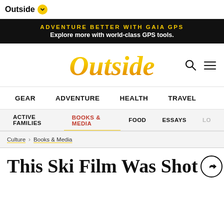Outside
[Figure (screenshot): Black ad banner: 'ADVENTURE BETTER WITH GAIA GPS' in yellow uppercase letters, subtitle 'Explore more with world-class GPS tools.' in white bold text]
[Figure (logo): Outside magazine logo in large italic gold/orange gradient serif font]
GEAR  ADVENTURE  HEALTH  TRAVEL
ACTIVE FAMILIES  BOOKS & MEDIA  FOOD  ESSAYS  LO...
Culture > Books & Media
This Ski Film Was Shot